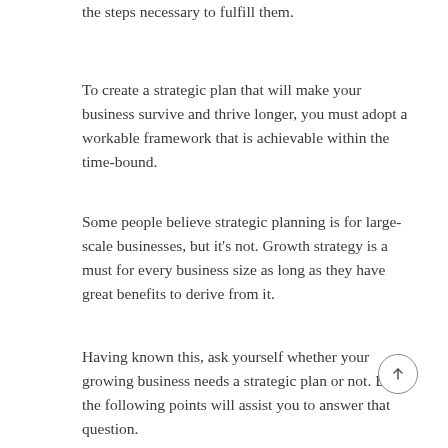the steps necessary to fulfill them.
To create a strategic plan that will make your business survive and thrive longer, you must adopt a workable framework that is achievable within the time-bound.
Some people believe strategic planning is for large-scale businesses, but it's not. Growth strategy is a must for every business size as long as they have great benefits to derive from it.
Having known this, ask yourself whether your growing business needs a strategic plan or not. But, the following points will assist you to answer that question.